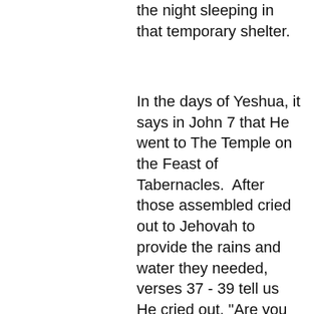the night sleeping in that temporary shelter.
In the days of Yeshua, it says in John 7 that He went to The Temple on the Feast of Tabernacles.  After those assembled cried out to Jehovah to provide the rains and water they needed, verses 37 - 39 tell us He cried out, "Are you thirst? Then come to Me and drink. If you believe in Me, then out of your innermost being will flow rivers of Living Water.  (By this He meant the Holy Spirit.)"  He was saying HE was the answer to their prayer.  Indeed, He was God manifested in their midst, an even more clear revelation